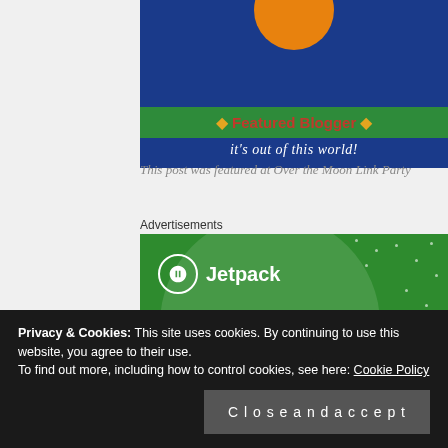[Figure (illustration): Featured Blogger banner with dark blue background, green ribbon saying 'Featured Blogger' with diamond symbols, and tagline 'it's out of this world!']
This post was featured at Over the Moon Link Party
Advertisements
[Figure (illustration): Jetpack advertisement banner with green background, circular light element, scattered white dots, Jetpack logo and name, and partial italic text at bottom reading 'The best real time...']
Privacy & Cookies: This site uses cookies. By continuing to use this website, you agree to their use.
To find out more, including how to control cookies, see here: Cookie Policy
Close and accept